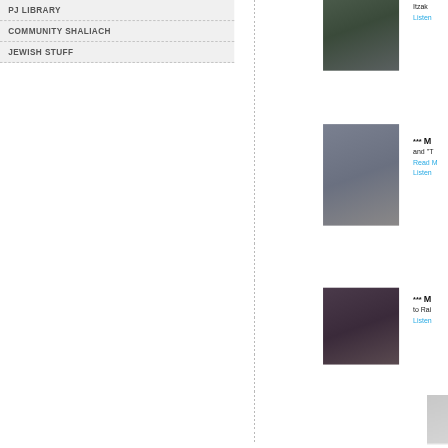PJ LIBRARY
COMMUNITY SHALIACH
JEWISH STUFF
[Figure (photo): Portrait photo of a man with glasses wearing a brown jacket]
Itzak
Listen
[Figure (photo): Man speaking at a podium with a microphone, wearing a blue suit]
*** M
and "T
Read M
Listen
[Figure (photo): Woman with dark curly hair with gray streaks, wearing black]
*** M
to Rai
Listen
[Figure (photo): Partial photo visible at bottom right corner]